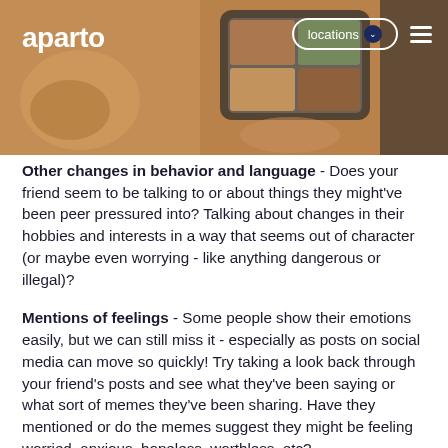[Figure (screenshot): Header image of the Aparto website showing a person using a smartphone with food images on screen, over a wooden table with a coffee cup. Navigation bar shows 'aparto' logo on the left, 'locations' button with dropdown and hamburger menu on the right.]
Other changes in behavior and language - Does your friend seem to be talking to or about things they might've been peer pressured into? Talking about changes in their hobbies and interests in a way that seems out of character (or maybe even worrying - like anything dangerous or illegal)?
Mentions of feelings - Some people show their emotions easily, but we can still miss it - especially as posts on social media can move so quickly! Try taking a look back through your friend's posts and see what they've been saying or what sort of memes they've been sharing. Have they mentioned or do the memes suggest they might be feeling worried, anxious, hopeless, worthless, etc?
Remember, all of these things are potential clues that your friend might be struggling, rather than proof. It's always